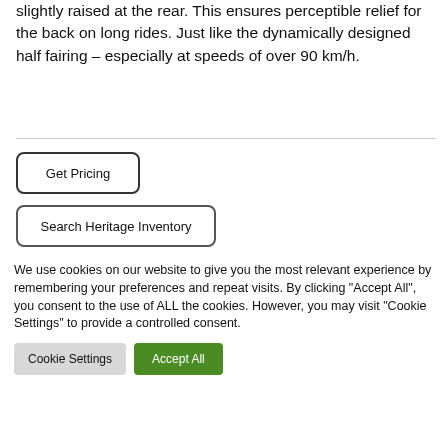slightly raised at the rear. This ensures perceptible relief for the back on long rides. Just like the dynamically designed half fairing – especially at speeds of over 90 km/h.
Get Pricing
Search Heritage Inventory
We use cookies on our website to give you the most relevant experience by remembering your preferences and repeat visits. By clicking "Accept All", you consent to the use of ALL the cookies. However, you may visit "Cookie Settings" to provide a controlled consent.
Cookie Settings
Accept All